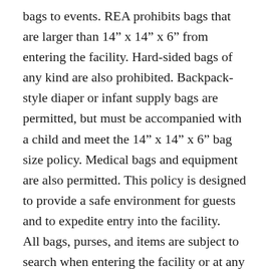bags to events. REA prohibits bags that are larger than 14" x 14" x 6" from entering the facility. Hard-sided bags of any kind are also prohibited. Backpack-style diaper or infant supply bags are permitted, but must be accompanied with a child and meet the 14" x 14" x 6" bag size policy. Medical bags and equipment are also permitted. This policy is designed to provide a safe environment for guests and to expedite entry into the facility. All bags, purses, and items are subject to search when entering the facility or at any time while inside the facility by REA staff. Guests are not allowed to check items at the gates and will be asked to either take prohibited items back to their vehicles or dispose of them at the gates. REA iis not responsible for items